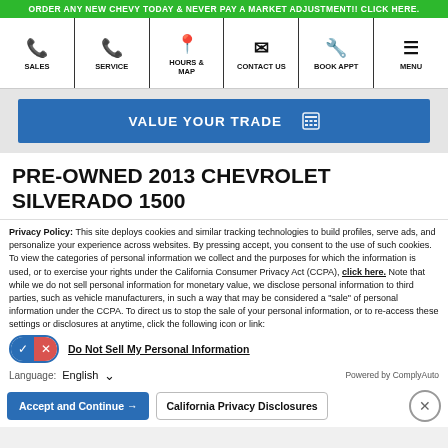ORDER ANY NEW CHEVY TODAY & NEVER PAY A MARKET ADJUSTMENT!! CLICK HERE.
[Figure (screenshot): Navigation bar with icons: SALES (phone), SERVICE (phone), HOURS & MAP (location pin), CONTACT US (envelope), BOOK APPT (wrench), MENU (hamburger)]
[Figure (screenshot): Blue button reading VALUE YOUR TRADE with calculator icon]
PRE-OWNED 2013 CHEVROLET SILVERADO 1500
Privacy Policy: This site deploys cookies and similar tracking technologies to build profiles, serve ads, and personalize your experience across websites. By pressing accept, you consent to the use of such cookies. To view the categories of personal information we collect and the purposes for which the information is used, or to exercise your rights under the California Consumer Privacy Act (CCPA), click here. Note that while we do not sell personal information for monetary value, we disclose personal information to third parties, such as vehicle manufacturers, in such a way that may be considered a "sale" of personal information under the CCPA. To direct us to stop the sale of your personal information, or to re-access these settings or disclosures at anytime, click the following icon or link:
Do Not Sell My Personal Information
Language: English
Powered by ComplyAuto
Accept and Continue → | California Privacy Disclosures